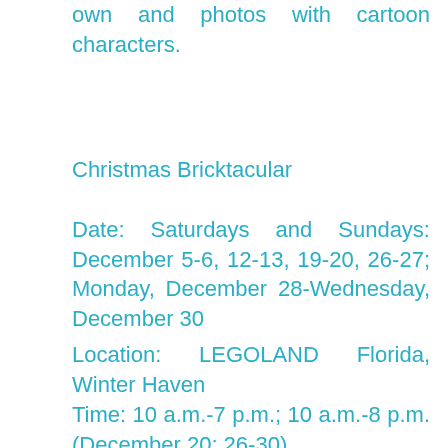own and photos with cartoon characters.
Christmas Bricktacular
Date: Saturdays and Sundays: December 5-6, 12-13, 19-20, 26-27; Monday, December 28-Wednesday, December 30
Location: LEGOLAND Florida, Winter Haven
Time: 10 a.m.-7 p.m.; 10 a.m.-8 p.m. (December 20; 26-30)
Details: Bring in the holiday season